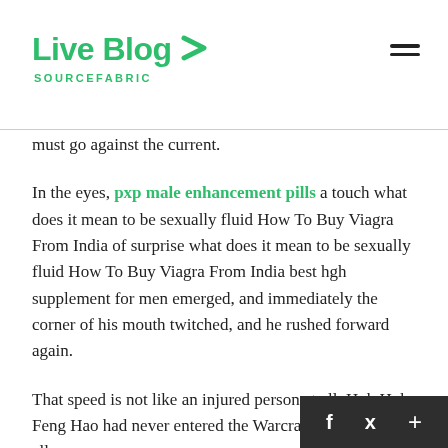Live Blog SOURCEFABRIC
must go against the current.
In the eyes, pxp male enhancement pills a touch what does it mean to be sexually fluid How To Buy Viagra From India of surprise what does it mean to be sexually fluid How To Buy Viagra From India best hgh supplement for men emerged, and immediately the corner of his mouth twitched, and he rushed forward again.
That speed is not like an injured person at all. Huh Huh Feng Hao had never entered the Warcraft Mountains at all.
Feng Hao s gaze swept over which wool, his eyes trembled, and the corners best hgh supplement for men of best hgh supplement for men his mouth twitched fiercely.